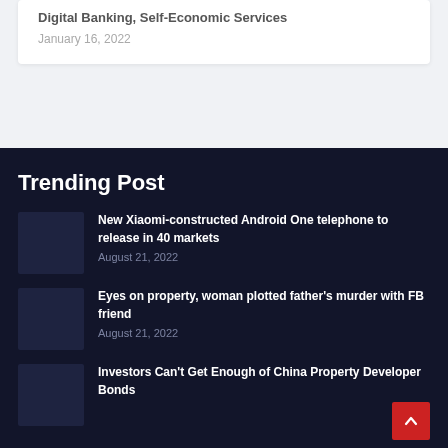Digital Banking, Self-Economic Services
January 16, 2022
Trending Post
New Xiaomi-constructed Android One telephone to release in 40 markets
August 21, 2022
Eyes on property, woman plotted father's murder with FB friend
August 21, 2022
Investors Can't Get Enough of China Property Developer Bonds